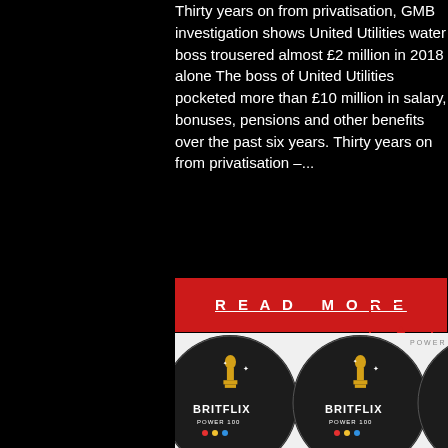Thirty years on from privatisation, GMB investigation shows United Utilities water boss trousered almost £2 million in 2018 alone The boss of United Utilities pocketed more than £10 million in salary, bonuses, pensions and other benefits over the past six years. Thirty years on from privatisation –...
READ MORE
[Figure (other): Red bordered box with upward arrow (back to top button)]
[Figure (photo): Britflix Power 100 circular coasters/badges with gold Oscar statuette silhouettes on dark background, scattered with colorful dots]